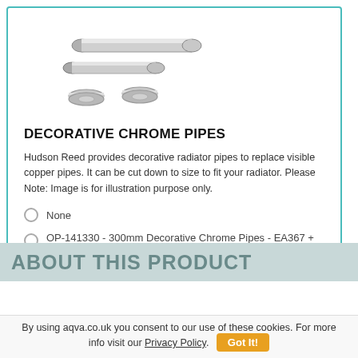[Figure (photo): Two chrome decorative radiator pipes and two chrome escutcheon rings/rosettes on a white background]
DECORATIVE CHROME PIPES
Hudson Reed provides decorative radiator pipes to replace visible copper pipes. It can be cut down to size to fit your radiator. Please Note: Image is for illustration purpose only.
None
OP-141330 - 300mm Decorative Chrome Pipes - EA367 + £14.80 [ View Image ]
ABOUT THIS PRODUCT
By using aqva.co.uk you consent to our use of these cookies. For more info visit our Privacy Policy. Got It!